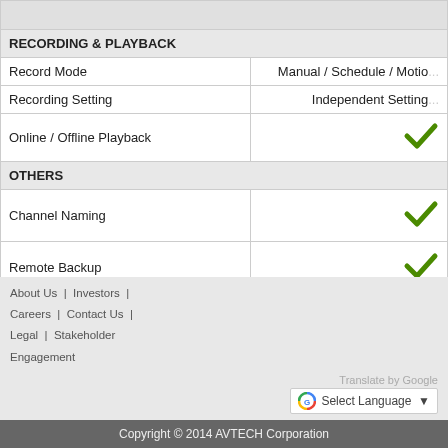| Feature | Value |
| --- | --- |
| RECORDING & PLAYBACK |  |
| Record Mode | Manual / Schedule / Motio... |
| Recording Setting | Independent Setting... |
| Online / Offline Playback | ✓ |
| OTHERS |  |
| Channel Naming | ✓ |
| Remote Backup | ✓ |
| Pre-/Post- Alarm Recording | Max. 10 Sec... |
| E-Map | Single E-Map and Building E-Map... Google E-M... |
About Us | Investors | Careers | Contact Us | Legal | Stakeholder Engagement  Translate by Google  Select Language  Copyright © 2014 AVTECH Corporation